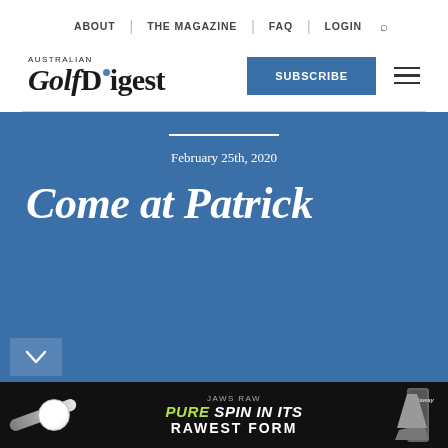ABOUT | THE MAGAZINE | FAQ | LOGIN
[Figure (logo): Australian Golf Digest logo with blue dot on the 'i' in Digest]
SUBSCRIBE
February 25th, 2020
Come at Patrick
[Figure (photo): Callaway Jaws Raw advertisement banner: golf club and ball, PURE SPIN IN ITS RAWEST FORM]